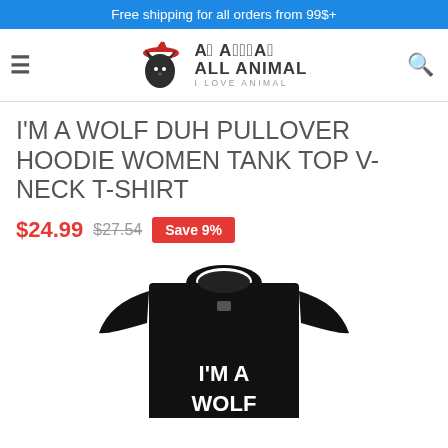Free shipping for all orders from 99$+
[Figure (logo): All Animal – I Love Animal logo with a wolf/raven wearing a Santa hat, stylized text]
I'M A WOLF DUH PULLOVER HOODIE WOMEN TANK TOP V-NECK T-SHIRT
$24.99 $27.54 Save 9%
[Figure (photo): Black t-shirt with white text reading I'M A WOLF (partially visible), product photo on white background]